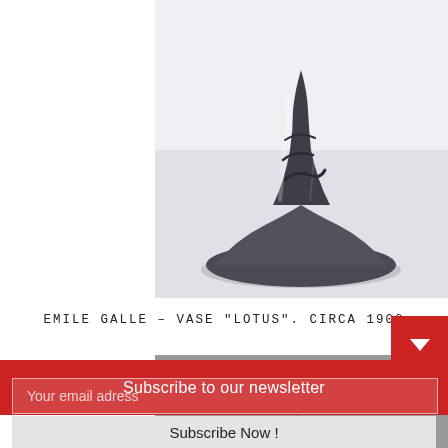[Figure (photo): Close-up photo of the base and stem of Emile Gallé Vase Lotus, circa 1900 – dark blue/grey glass art nouveau vase against white background]
EMILE GALLE – VASE "LOTUS". CIRCA 1900
[Figure (photo): Art nouveau green glass sculptural piece against grey background, resembling the top of the Lotus vase with curved organic handles]
Subscribe to our newsletter
Your email adress
Subscribe Now !